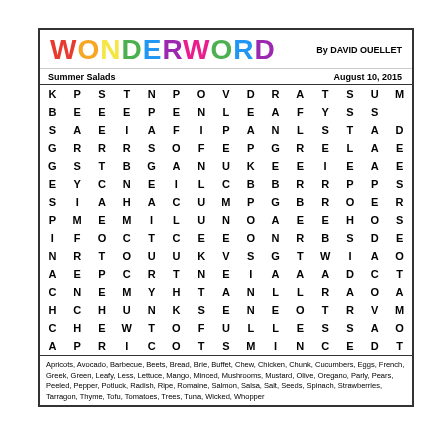WONDERWORD
By DAVID OUELLET
Summer Salads
August 10, 2015
| K | P | S | T | N | P | O | V | D | R | A | T | S | U | M |
| B | E | E | E | P | E | N | L | E | A | F | Y | S | S |  |
| S | A | E | I | A | F | I | P | A | N | L | S | T | A | D |
| G | R | R | R | S | O | F | E | P | G | R | E | L | A | E |
| G | S | T | B | G | A | N | U | K | E | E | I | E | A | E |
| E | Y | C | N | E | I | L | C | B | B | R | R | P | P | S |
| S | I | A | H | A | C | U | M | P | G | B | R | O | E | R |
| P | M | E | M | I | L | U | N | O | A | E | E | H | O | S |
| I | F | O | C | T | C | E | E | O | N | R | B | S | D | E |
| N | R | T | O | U | U | K | V | S | G | T | W | I | A | O |
| A | E | P | C | R | T | N | E | I | A | A | A | D | C | T |
| C | N | E | M | Y | H | T | A | N | L | L | R | A | O | A |
| H | C | H | U | N | K | S | E | N | E | O | T | R | V | M |
| C | H | E | W | T | O | F | U | L | L | E | S | S | A | O |
| A | P | R | I | C | O | T | S | M | I | N | C | E | D | T |
Apricots, Avocado, Barbecue, Beets, Bread, Brie, Buffet, Chew, Chicken, Chunk, Cucumbers, Eggs, French, Greek, Green, Leafy, Less, Lettuce, Mango, Minced, Mushrooms, Mustard, Olive, Oregano, Parly, Pears, Peeled, Pepper, Potluck, Radish, Ripe, Romaine, Salmon, Salsa, Salt, Seeds, Spinach, Strawberries, Tarragon, Thyme, Tofu, Tomatoes, Trees, Tuna, Wicked, Whopper